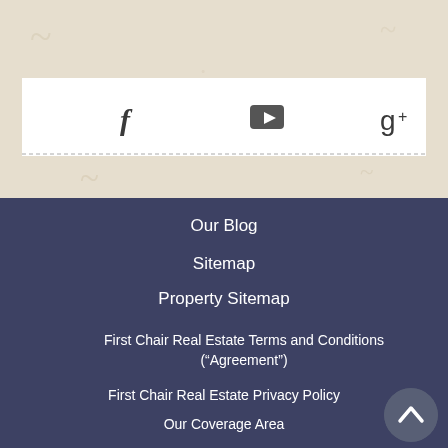[Figure (screenshot): Social media icons bar with Facebook, YouTube, Google+, and RSS feed icons on a white background over a beige/tan textured section]
Our Blog
Sitemap
Property Sitemap
First Chair Real Estate Terms and Conditions (“Agreement”)
First Chair Real Estate Privacy Policy
Our Coverage Area
Back to top button